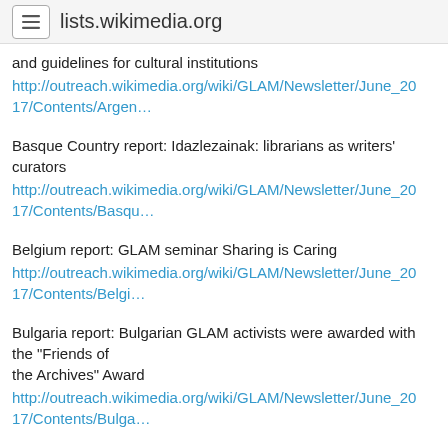lists.wikimedia.org
and guidelines for cultural institutions http://outreach.wikimedia.org/wiki/GLAM/Newsletter/June_2017/Contents/Argen…
Basque Country report: Idazlezainak: librarians as writers' curators http://outreach.wikimedia.org/wiki/GLAM/Newsletter/June_2017/Contents/Basqu…
Belgium report: GLAM seminar Sharing is Caring http://outreach.wikimedia.org/wiki/GLAM/Newsletter/June_2017/Contents/Belgi…
Bulgaria report: Bulgarian GLAM activists were awarded with the "Friends of the Archives" Award http://outreach.wikimedia.org/wiki/GLAM/Newsletter/June_2017/Contents/Bulga…